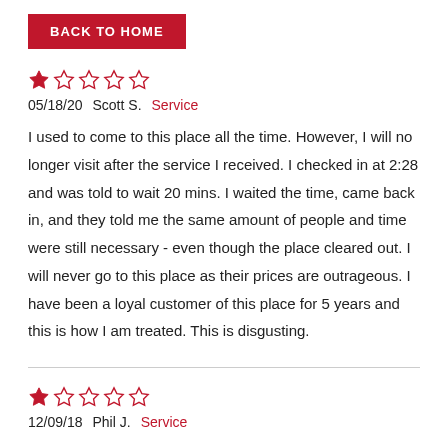BACK TO HOME
[Figure (other): 1-star rating out of 5 stars (one filled red star, four empty red-outline stars)]
05/18/20   Scott S.   Service
I used to come to this place all the time. However, I will no longer visit after the service I received. I checked in at 2:28 and was told to wait 20 mins. I waited the time, came back in, and they told me the same amount of people and time were still necessary - even though the place cleared out. I will never go to this place as their prices are outrageous. I have been a loyal customer of this place for 5 years and this is how I am treated. This is disgusting.
[Figure (other): 1-star rating out of 5 stars (one filled red star, four empty red-outline stars)]
12/09/18   Phil J.   Service